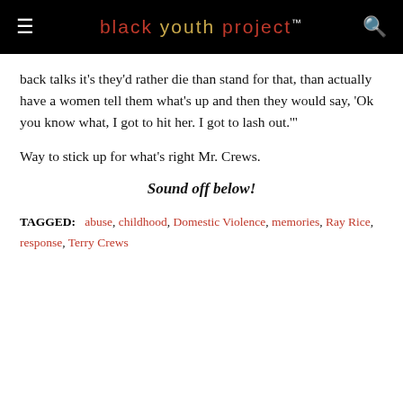black youth project™
back talks it's they'd rather die than stand for that, than actually have a women tell them what's up and then they would say, 'Ok you know what, I got to hit her. I got to lash out.'"
Way to stick up for what's right Mr. Crews.
Sound off below!
TAGGED:   abuse, childhood, Domestic Violence, memories, Ray Rice, response, Terry Crews